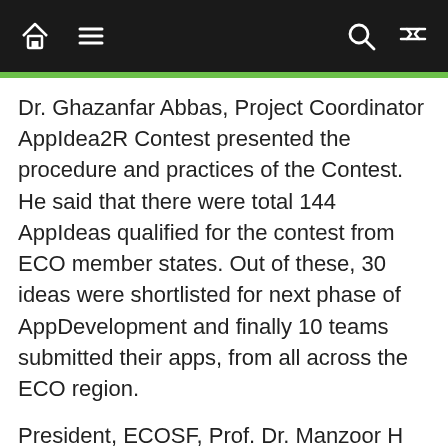Navigation bar with home, menu, search, and shuffle icons
Dr. Ghazanfar Abbas, Project Coordinator AppIdea2R Contest presented the procedure and practices of the Contest. He said that there were total 144 AppIdeas qualified for the contest from ECO member states. Out of these, 30 ideas were shortlisted for next phase of AppDevelopment and finally 10 teams submitted their apps, from all across the ECO region.
President, ECOSF, Prof. Dr. Manzoor H Soomro highlighted the importance of SDGs and the role of academia to achieve them. He said, “SDGs will set direction for social, economic, and environmental development for next 13 years. This is a unique opportunity to end poverty and ensuring the dignity and rights of all human